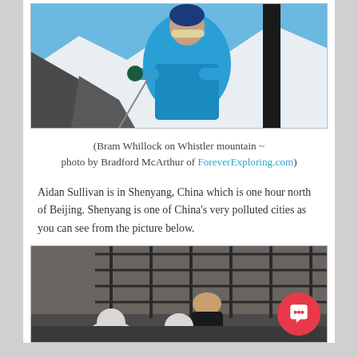[Figure (photo): Person in blue jacket and hat on Whistler mountain with snow and skis, photo by Bradford McArthur]
(Bram Whillock on Whistler mountain ~ photo by Bradford McArthur of ForeverExploring.com)
Aidan Sullivan is in Shenyang, China which is one hour north of Beijing. Shenyang is one of China's very polluted cities as you can see from the picture below.
[Figure (photo): Person in dark clothing surrounded by white bust sculptures and a metal grid structure in a dimly lit room in Shenyang, China]